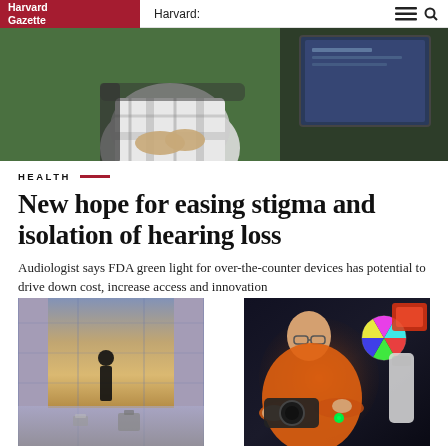Harvard Gazette | Harvard:
[Figure (photo): Person in plaid shirt sitting at a computer workstation with green screen background]
HEALTH
New hope for easing stigma and isolation of hearing loss
Audiologist says FDA green light for over-the-counter devices has potential to drive down cost, increase access and innovation
[Figure (photo): Person silhouette standing near glass windows of a tall building at sunset, with small objects on a table]
[Figure (photo): Smiling researcher in orange shirt working with optical/laser equipment in a dark lab]